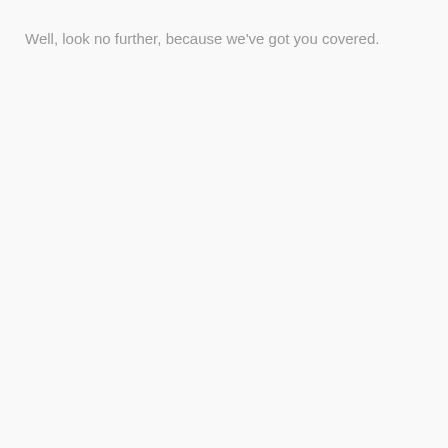Well, look no further, because we've got you covered.